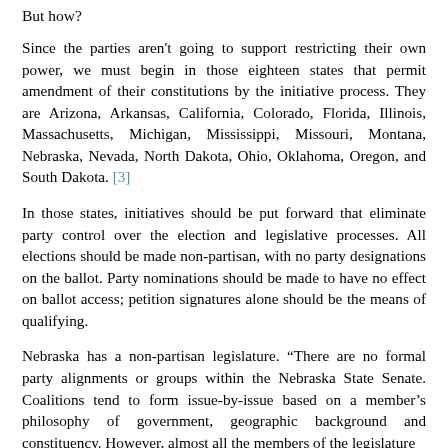But how?
Since the parties aren't going to support restricting their own power, we must begin in those eighteen states that permit amendment of their constitutions by the initiative process. They are Arizona, Arkansas, California, Colorado, Florida, Illinois, Massachusetts, Michigan, Mississippi, Missouri, Montana, Nebraska, Nevada, North Dakota, Ohio, Oklahoma, Oregon, and South Dakota. [3]
In those states, initiatives should be put forward that eliminate party control over the election and legislative processes. All elections should be made non-partisan, with no party designations on the ballot. Party nominations should be made to have no effect on ballot access; petition signatures alone should be the means of qualifying.
Nebraska has a non-partisan legislature. “There are no formal party alignments or groups within the Nebraska State Senate. Coalitions tend to form issue-by-issue based on a member’s philosophy of government, geographic background and constituency. However, almost all the members of the legislature